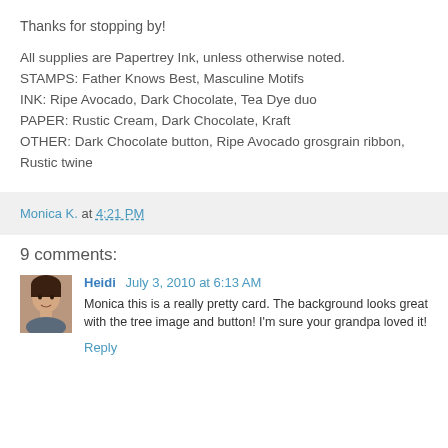Thanks for stopping by!
All supplies are Papertrey Ink, unless otherwise noted. STAMPS: Father Knows Best, Masculine Motifs INK: Ripe Avocado, Dark Chocolate, Tea Dye duo PAPER: Rustic Cream, Dark Chocolate, Kraft OTHER: Dark Chocolate button, Ripe Avocado grosgrain ribbon, Rustic twine
Monica K. at 4:21 PM
9 comments:
[Figure (photo): Small avatar photo of a person named Heidi]
Heidi July 3, 2010 at 6:13 AM
Monica this is a really pretty card. The background looks great with the tree image and button! I'm sure your grandpa loved it!
Reply